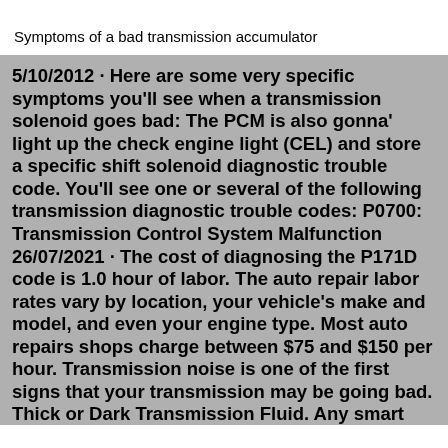Symptoms of a bad transmission accumulator
5/10/2012 · Here are some very specific symptoms you'll see when a transmission solenoid goes bad: The PCM is also gonna' light up the check engine light (CEL) and store a specific shift solenoid diagnostic trouble code. You'll see one or several of the following transmission diagnostic trouble codes: P0700: Transmission Control System Malfunction 26/07/2021 · The cost of diagnosing the P171D code is 1.0 hour of labor. The auto repair labor rates vary by location, your vehicle's make and model, and even your engine type. Most auto repairs shops charge between $75 and $150 per hour. Transmission noise is one of the first signs that your transmission may be going bad. Thick or Dark Transmission Fluid. Any smart car owner should check their fluid levels, thickness, and color regularly. Transmission fluid can last longer than engine oil. However, just like engine oil, you can tell